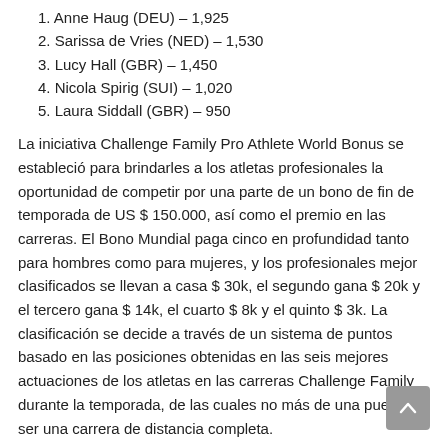1. Anne Haug (DEU) – 1,925
2. Sarissa de Vries (NED) – 1,530
3. Lucy Hall (GBR) – 1,450
4. Nicola Spirig (SUI) – 1,020
5. Laura Siddall (GBR) – 950
La iniciativa Challenge Family Pro Athlete World Bonus se estableció para brindarles a los atletas profesionales la oportunidad de competir por una parte de un bono de fin de temporada de US $ 150.000, así como el premio en las carreras. El Bono Mundial paga cinco en profundidad tanto para hombres como para mujeres, y los profesionales mejor clasificados se llevan a casa $ 30k, el segundo gana $ 20k y el tercero gana $ 14k, el cuarto $ 8k y el quinto $ 3k. La clasificación se decide a través de un sistema de puntos basado en las posiciones obtenidas en las seis mejores actuaciones de los atletas en las carreras Challenge Family durante la temporada, de las cuales no más de una puede ser una carrera de distancia completa.